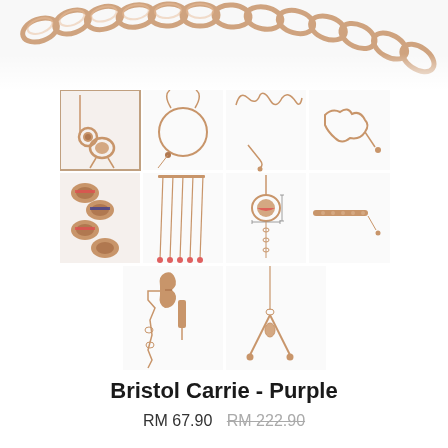[Figure (photo): Close-up photograph of rose gold chain links at the top of the page, fading into white background below]
[Figure (photo): Product image collage of a rose gold bracelet/necklace set called Bristol Carrie in Purple, showing 9 detail views: main product view with ring charm and pendant, circular bracelet outline, wavy chain shape, clasp detail, multi-charm close-up, multiple hanging chain pins with red ends, circular pendant with measurement annotations, extension chain with gem bar, and wishbone/Y-shaped chain accessory]
Bristol Carrie - Purple
RM 67.90  RM 222.90